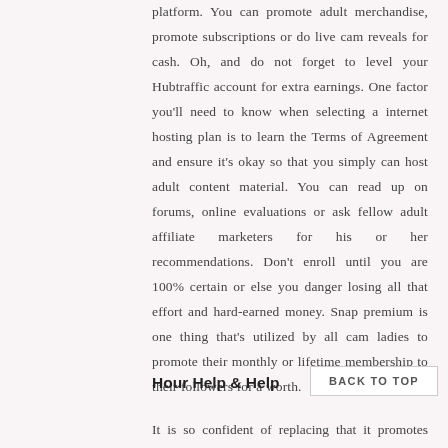platform. You can promote adult merchandise, promote subscriptions or do live cam reveals for cash. Oh, and do not forget to level your Hubtraffic account for extra earnings. One factor you'll need to know when selecting a internet hosting plan is to learn the Terms of Agreement and ensure it's okay so that you simply can host adult content material. You can read up on forums, online evaluations or ask fellow adult affiliate marketers for his or her recommendations. Don't enroll until you are 100% certain or else you danger losing all that effort and hard-earned money. Snap premium is one thing that's utilized by all cam ladies to promote their monthly or lifetime membership to their followers for a worth.
Hour Help & Help
It is so confident of replacing that it promotes itself as